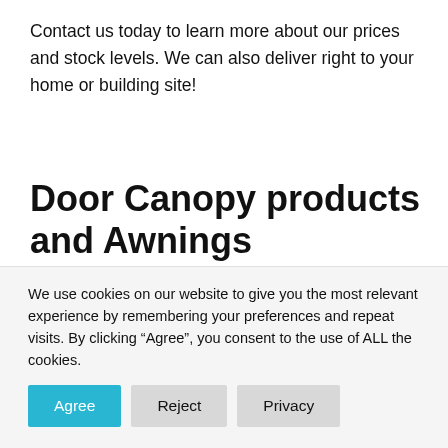Contact us today to learn more about our prices and stock levels. We can also deliver right to your home or building site!
Door Canopy products and Awnings
When it comes to finding the perfect door canopy
We use cookies on our website to give you the most relevant experience by remembering your preferences and repeat visits. By clicking “Agree”, you consent to the use of ALL the cookies.